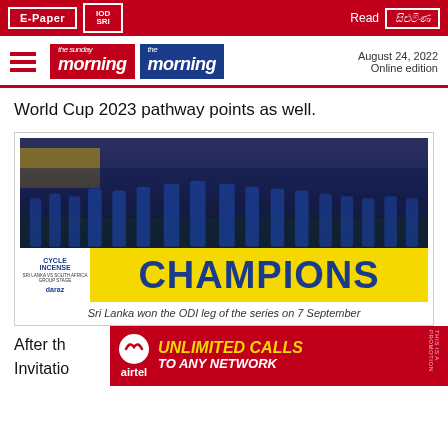E-Paper | IOD | Read [Sinhala logo]
the sunday morning | the morning | August 24, 2022 Online edition
World Cup 2023 pathway points as well.
[Figure (photo): Sri Lanka cricket team celebrating with Champions banner and trophy after winning the ODI leg of the series]
Sri Lanka won the ODI leg of the series on 7 September
After th
Invitatio
[Figure (other): Airtel advertisement banner: UNLIMITED CALLS TO ANY NETWORK]